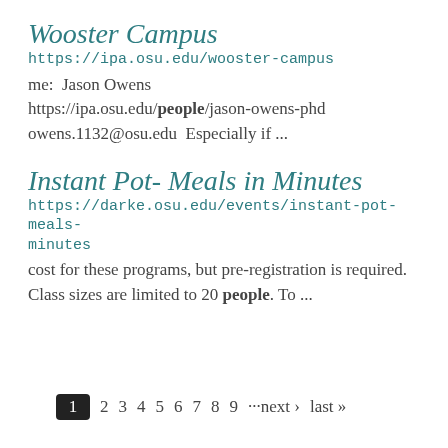Wooster Campus
https://ipa.osu.edu/wooster-campus
me:  Jason Owens
https://ipa.osu.edu/people/jason-owens-phd owens.1132@osu.edu  Especially if ...
Instant Pot- Meals in Minutes
https://darke.osu.edu/events/instant-pot-meals-minutes
cost for these programs, but pre-registration is required.  Class sizes are limited to 20 people. To ...
1  2  3  4  5  6  7  8  9  ···next ›  last »